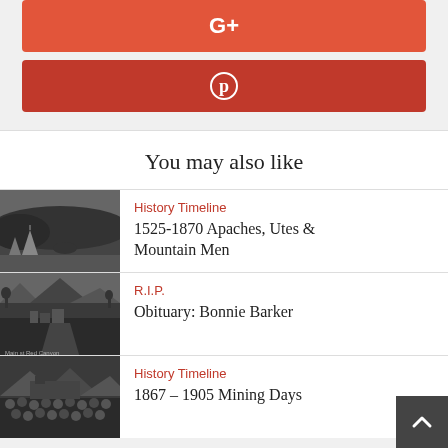[Figure (other): Google+ social share button, red/orange background with G+ icon in white]
[Figure (other): Pinterest social share button, dark red background with Pinterest P icon in white]
You may also like
[Figure (photo): Black and white historical photo of Native American teepees and horses with forested hillside]
History Timeline
1525-1870 Apaches, Utes & Mountain Men
[Figure (photo): Black and white historical photo of a mountain town with buildings in a valley]
R.I.P.
Obituary: Bonnie Barker
[Figure (photo): Black and white historical photo of a crowd of miners or settlers]
History Timeline
1867 – 1905 Mining Days